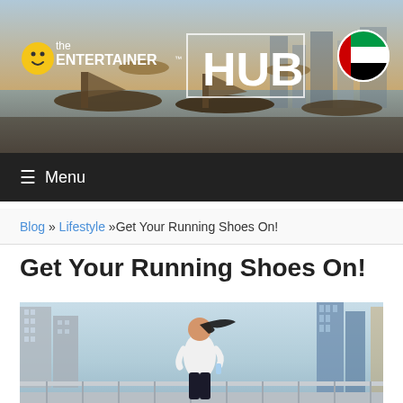[Figure (photo): Header banner showing Dubai harbor/waterway scene with traditional boats, seen at sunset/golden hour. The Entertainer HUB logo and UAE flag displayed over the image.]
☺the ENTERTAINER™ | HUB
☰ Menu
Blog »Lifestyle »Get Your Running Shoes On!
Get Your Running Shoes On!
[Figure (photo): Woman running on a bridge/walkway in athletic wear, holding a water bottle, with Dubai city skyline of tall modern skyscrapers in the background on a clear day.]